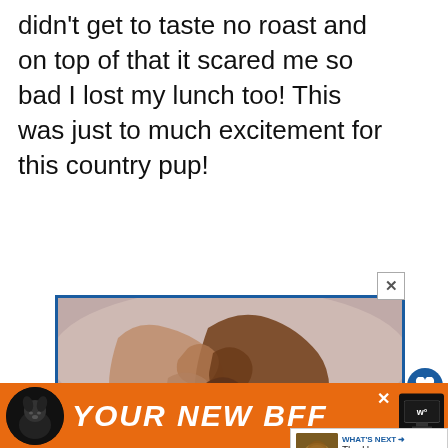didn't get to taste no roast and on top of that it scared me so bad I lost my lunch too! This was just to much excitement for this country pup!
[Figure (photo): Advertisement banner showing two hands clasped together, with United Way donation appeal: 'Give support to people recovering from crisis. Make a year-end donation.']
[Figure (other): Bottom banner advertisement showing a dog silhouette and text 'YOUR NEW BFF' in orange background]